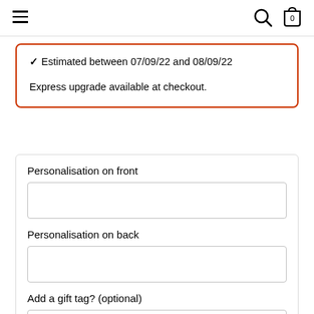navigation header with hamburger menu, search icon, and cart icon (0 items)
✓ Estimated between 07/09/22 and 08/09/22
Express upgrade available at checkout.
Personalisation on front
Personalisation on back
Add a gift tag? (optional)